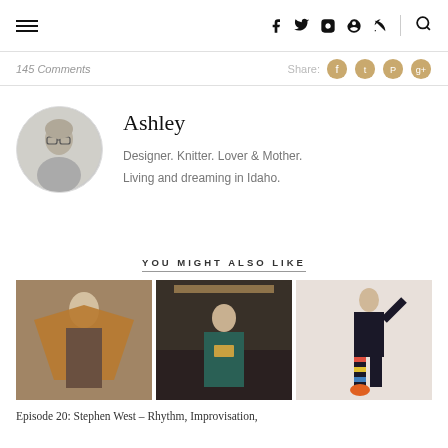Navigation bar with hamburger menu, social icons (facebook, twitter, instagram, pinterest, rss), and search
145 Comments
Share:
Ashley
Designer. Knitter. Lover & Mother. Living and dreaming in Idaho.
YOU MIGHT ALSO LIKE
[Figure (photo): Three fashion/lifestyle photos side by side: left shows a person holding up a brown knitted shawl, center shows a person in a dark teal sweater with a large square necklace standing in front of a shop, right shows a person in colorful striped outfit jumping.]
Episode 20: Stephen West – Rhythm, Improvisation,